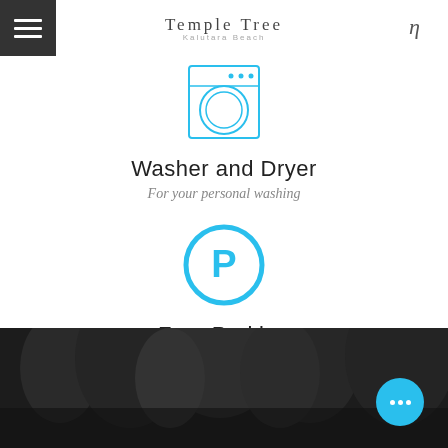[Figure (logo): Temple Tree Kalutara Beach logo with hamburger menu icon and eta symbol]
[Figure (illustration): Washer/dryer icon drawn in teal/cyan lines showing a front-loading washing machine]
Washer and Dryer
For your personal washing
[Figure (illustration): Parking icon: teal circle with letter P inside]
Free Parking
free parking
[Figure (photo): Dark background photo showing trees or foliage, partially visible at bottom of page with a teal chat/more button overlay]